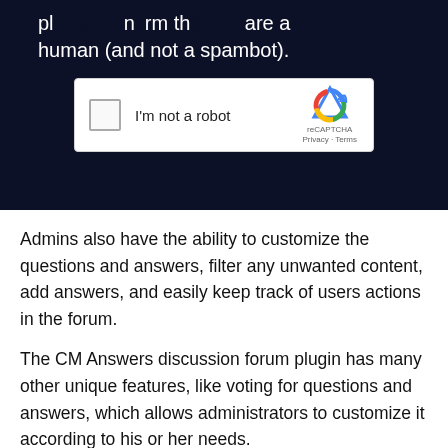[Figure (screenshot): Screenshot of a dark-background section showing partial text 'please confirm that you are a human (and not a spambot).' and a reCAPTCHA widget with checkbox labeled 'I'm not a robot' and reCAPTCHA logo with 'Privacy - Terms' text.]
Admins also have the ability to customize the questions and answers, filter any unwanted content, add answers, and easily keep track of users actions in the forum.
The CM Answers discussion forum plugin has many other unique features, like voting for questions and answers, which allows administrators to customize it according to his or her needs.